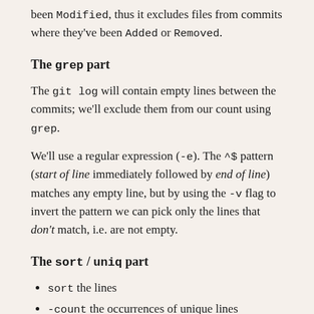been Modified, thus it excludes files from commits where they've been Added or Removed.
The grep part
The git log will contain empty lines between the commits; we'll exclude them from our count using grep.
We'll use a regular expression (-e). The ^$ pattern (start of line immediately followed by end of line) matches any empty line, but by using the -v flag to invert the pattern we can pick only the lines that don't match, i.e. are not empty.
The sort / uniq part
sort the lines
-count the occurrences of unique lines